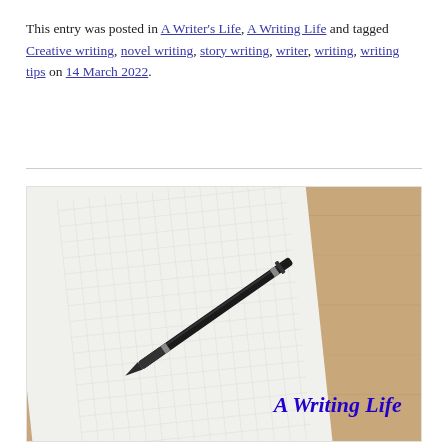This entry was posted in A Writer's Life, A Writing Life and tagged Creative writing, novel writing, story writing, writer, writing, writing tips on 14 March 2022.
[Figure (photo): Photo of an open blank notebook with a black pen resting on it, placed on a wooden surface. Text overlay reads 'A Writing Life' in bold italic blue font.]